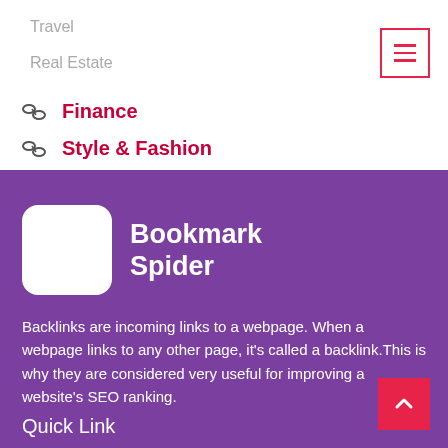Finance
Style & Fashion
[Figure (logo): Bookmark Spider logo — white rounded rectangle on purple background with bold white text 'Bookmark Spider']
Backlinks are incoming links to a webpage. When a webpage links to any other page, it's called a backlink.This is why they are considered very useful for improving a website's SEO ranking.
Quick Link